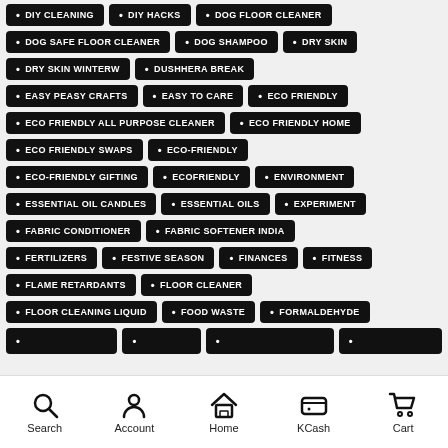DIY CLEANING
DIY HACKS
DOG FLOOR CLEANER
DOG SAFE FLOOR CLEANER
DOG SHAMPOO
DRY SKIN
DRY SKIN WINTERW
DUSHHERA BREAK
EASY PEASY CRAFTS
EASY TO CARE
ECO FRIENDLY
ECO FRIENDLY ALL PURPOSE CLEANER
ECO FRIENDLY HOME
ECO FRIENDLY SWAPS
ECO-FRIENDLY
ECO-FRIENDLY GIFTING
ECOFRIENDLY
ENVIRONMENT
ESSENTIAL OIL CANDLES
ESSENTIAL OILS
EXPERIMENT
FABRIC CONDITIONER
FABRIC SOFTENER INDIA
FERTILIZERS
FESTIVE SEASON
FINANCES
FITNESS
FLAME RETARDANTS
FLOOR CLEANER
FLOOR CLEANING LIQUID
FOOD WASTE
FORMALDEHYDE
Search | Account | Home | KCash | Cart